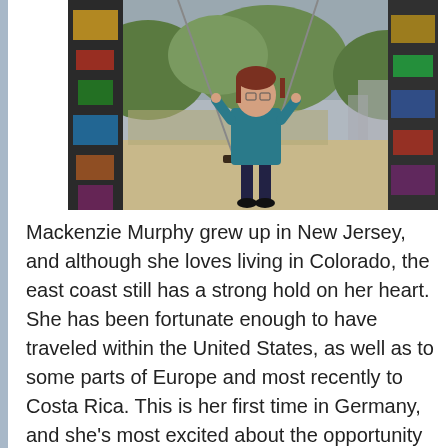[Figure (photo): A woman standing on a swing between two graffiti-covered posts, with trees and a park in the background.]
Mackenzie Murphy grew up in New Jersey, and although she loves living in Colorado, the east coast still has a strong hold on her heart. She has been fortunate enough to have traveled within the United States, as well as to some parts of Europe and most recently to Costa Rica. This is her first time in Germany, and she's most excited about the opportunity to travel and learn about this wonderful place with her peers. She will be a